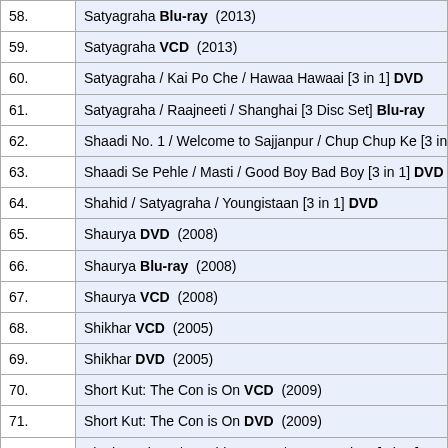| # | Title |
| --- | --- |
| 58. | Satyagraha Blu-ray  (2013) |
| 59. | Satyagraha VCD  (2013) |
| 60. | Satyagraha / Kai Po Che / Hawaa Hawaai [3 in 1] DVD |
| 61. | Satyagraha / Raajneeti / Shanghai [3 Disc Set] Blu-ray |
| 62. | Shaadi No. 1 / Welcome to Sajjanpur / Chup Chup Ke [3 in ... |
| 63. | Shaadi Se Pehle / Masti / Good Boy Bad Boy [3 in 1] DVD |
| 64. | Shahid / Satyagraha / Youngistaan [3 in 1] DVD |
| 65. | Shaurya DVD  (2008) |
| 66. | Shaurya Blu-ray  (2008) |
| 67. | Shaurya VCD  (2008) |
| 68. | Shikhar VCD  (2005) |
| 69. | Shikhar DVD  (2005) |
| 70. | Short Kut: The Con is On VCD  (2009) |
| 71. | Short Kut: The Con is On DVD  (2009) |
| 72. | Singh Is Kinng / 36 China Town / Pyare Mohan [3 in 1] DVD |
| 73. | Singh Is Kinng / Shaadi Se Pehle / Pyare Mohan [3 in 1] DV... |
| 74. | Singh Saab - The Great DVD  (2013) |